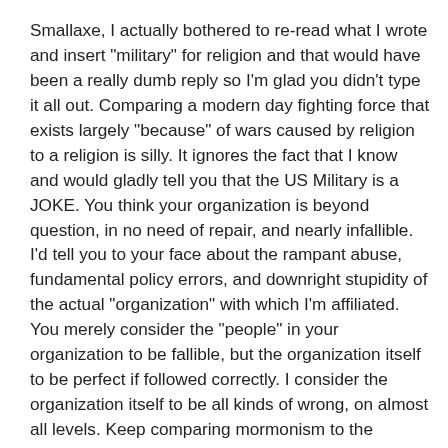Smallaxe, I actually bothered to re-read what I wrote and insert "military" for religion and that would have been a really dumb reply so I'm glad you didn't type it all out. Comparing a modern day fighting force that exists largely "because" of wars caused by religion to a religion is silly. It ignores the fact that I know and would gladly tell you that the US Military is a JOKE. You think your organization is beyond question, in no need of repair, and nearly infallible. I'd tell you to your face about the rampant abuse, fundamental policy errors, and downright stupidity of the actual "organization" with which I'm affiliated. You merely consider the "people" in your organization to be fallible, but the organization itself to be perfect if followed correctly. I consider the organization itself to be all kinds of wrong, on almost all levels. Keep comparing mormonism to the military if you want to keep